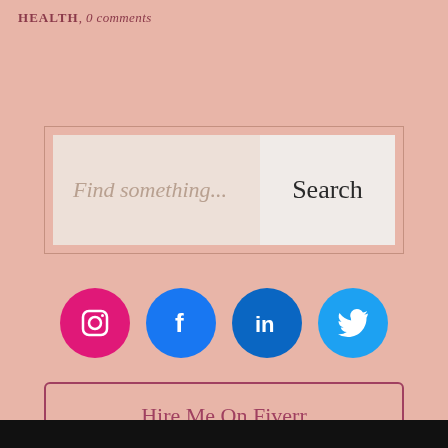HEALTH, 0 comments
[Figure (screenshot): Search box with 'Find something...' placeholder text and a 'Search' button]
[Figure (infographic): Row of four social media icons: Instagram (pink circle), Facebook (blue circle), LinkedIn (dark blue circle), Twitter (light blue circle)]
Hire Me On Fiverr